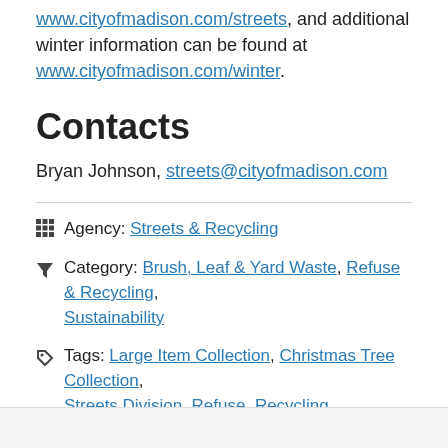www.cityofmadison.com/streets, and additional winter information can be found at www.cityofmadison.com/winter.
Contacts
Bryan Johnson, streets@cityofmadison.com
Agency: Streets & Recycling
Category: Brush, Leaf & Yard Waste, Refuse & Recycling, Sustainability
Tags: Large Item Collection, Christmas Tree Collection, Streets Division, Refuse, Recycling